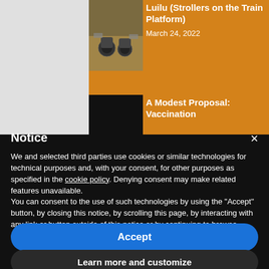[Figure (photo): Partial view of website with orange sidebar showing article thumbnails and titles]
Luilu (Strollers on the Train Platform)
March 24, 2022
A Modest Proposal: Vaccination
Notice
We and selected third parties use cookies or similar technologies for technical purposes and, with your consent, for other purposes as specified in the cookie policy. Denying consent may make related features unavailable.
You can consent to the use of such technologies by using the "Accept" button, by closing this notice, by scrolling this page, by interacting with any link or button outside of this notice or by continuing to browse otherwise.
Accept
Learn more and customize